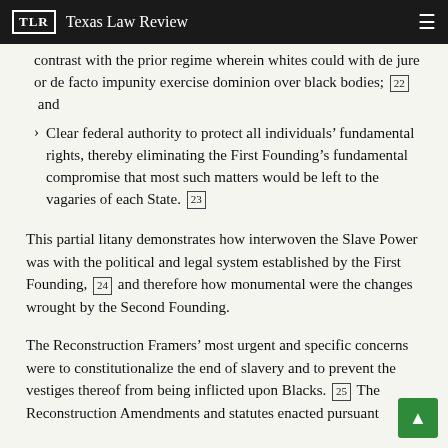TLR  Texas Law Review
contrast with the prior regime wherein whites could with de jure or de facto impunity exercise dominion over black bodies; [22] and
Clear federal authority to protect all individuals' fundamental rights, thereby eliminating the First Founding's fundamental compromise that most such matters would be left to the vagaries of each State. [23]
This partial litany demonstrates how interwoven the Slave Power was with the political and legal system established by the First Founding, [24] and therefore how monumental were the changes wrought by the Second Founding.
The Reconstruction Framers' most urgent and specific concerns were to constitutionalize the end of slavery and to prevent the vestiges thereof from being inflicted upon Blacks. [25] The Reconstruction Amendments and statutes enacted pursuant